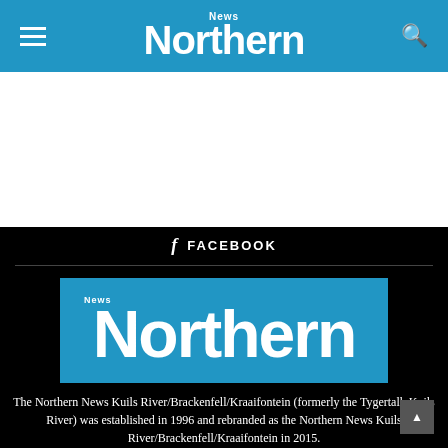Northern News
[Figure (other): White advertisement placeholder area]
f FACEBOOK
[Figure (logo): Northern News logo — blue rectangle with large white text 'Northern' and smaller 'News' above it]
The Northern News Kuils River/Brackenfell/Kraaifontein (formerly the Tygertalk Kuils River) was established in 1996 and rebranded as the Northern News Kuils River/Brackenfell/Kraaifontein in 2015.